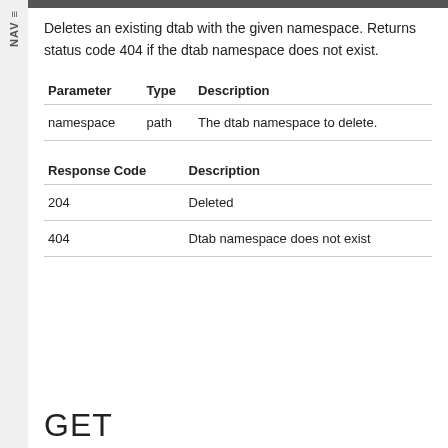Deletes an existing dtab with the given namespace. Returns status code 404 if the dtab namespace does not exist.
| Parameter | Type | Description |
| --- | --- | --- |
| namespace | path | The dtab namespace to delete. |
| Response Code | Description |
| --- | --- |
| 204 | Deleted |
| 404 | Dtab namespace does not exist |
GET